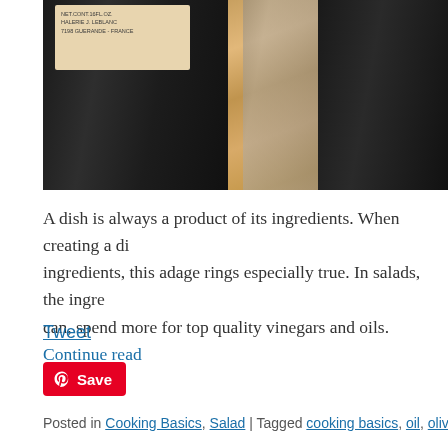[Figure (photo): Photo of dark glass bottles (vinegar/oil) on a wooden cutting board. The left bottle has a beige label reading NET CONT. 16FL.OZ., HALERIE J. LEBLANC, 7198 GUERANDE - FRANCE. Bottles are dark/black glass.]
A dish is always a product of its ingredients. When creating a di… ingredients, this adage rings especially true. In salads, the ingre… can, spend more for top quality vinegars and oils. Continue read…
Tweet
Save
Posted in Cooking Basics, Salad | Tagged cooking basics, oil, olive oil, vinaig…